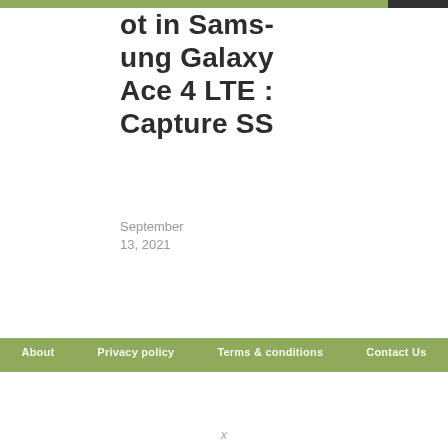ot in Samsung Galaxy Ace 4 LTE : Capture SS
September 13, 2021
About   Privacy policy   Terms & conditions   Contact Us